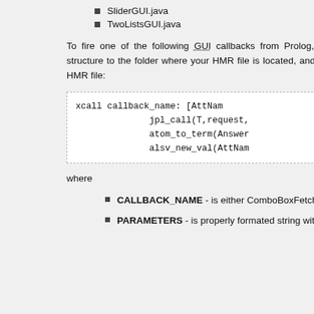SliderGUI.java
TwoListsGUI.java
To fire one of the following GUI callbacks from Prolog, you have to copy the catalog structure to the folder where your HMR file is located, and then add xcall definition in your HMR file:
xcall callback_name: [AttNam
              jpl_call(T,request,
              atom_to_term(Answer
              alsv_new_val(AttNam
where
CALLBACK_NAME  - is either ComboBoxFetcher, SliderFetcher, TwoListFetcher
PARAMETERS  - is properly formated string with parameters.